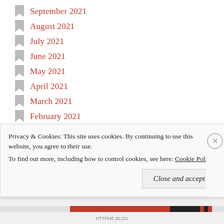September 2021
August 2021
July 2021
June 2021
May 2021
April 2021
March 2021
February 2021
January 2021
December 2020
November 2020
October 2020
September 2020
Privacy & Cookies:  This site uses cookies. By continuing to use this website, you agree to their use.
To find out more, including how to control cookies, see here: Cookie Policy
Close and accept